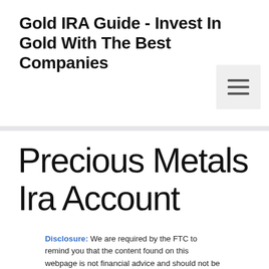Gold IRA Guide - Invest In Gold With The Best Companies
[Figure (other): Hamburger menu button icon with three horizontal lines]
Precious Metals Ira Account
Disclosure: We are required by the FTC to remind you that the content found on this webpage is not financial advice and should not be taken as such. Always do your own research and consult a financial